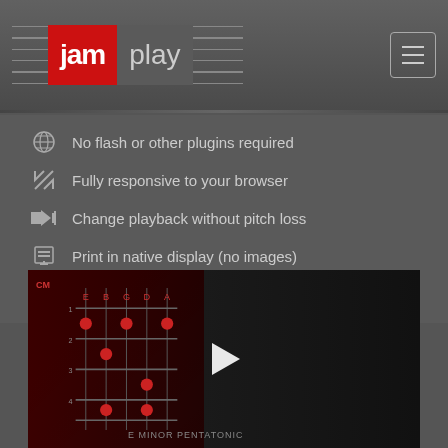[Figure (logo): JamPlay logo with red 'jam' block and gray 'play' block, flanked by guitar string lines, with hamburger menu button on the right]
No flash or other plugins required
Fully responsive to your browser
Change playback without pitch loss
Print in native display (no images)
Tab along with standard notation
[Figure (screenshot): Video thumbnail showing guitar lesson with fretboard diagram on left, guitar neck on right, play button in center, 'E MINOR PENTATONIC' label at bottom]